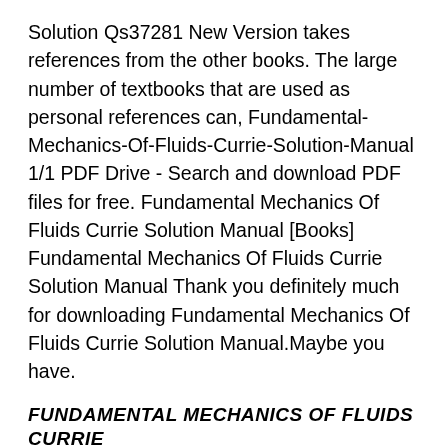Solution Qs37281 New Version takes references from the other books. The large number of textbooks that are used as personal references can, Fundamental-Mechanics-Of-Fluids-Currie-Solution-Manual 1/1 PDF Drive - Search and download PDF files for free. Fundamental Mechanics Of Fluids Currie Solution Manual [Books] Fundamental Mechanics Of Fluids Currie Solution Manual Thank you definitely much for downloading Fundamental Mechanics Of Fluids Currie Solution Manual.Maybe you have.
FUNDAMENTAL MECHANICS OF FLUIDS CURRIE SOLUTION QS37281
Fundamental Mechanics Of Fluids Solutions Manual. This is the URL: Solution Manual for